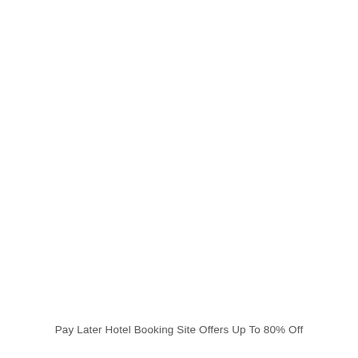Pay Later Hotel Booking Site Offers Up To 80% Off